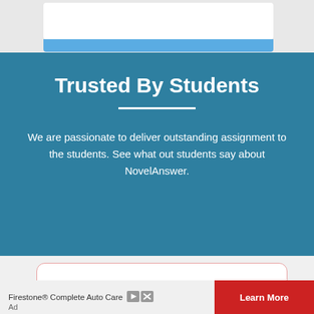[Figure (screenshot): Top section showing a white input box with a blue button bar below it, on a light grey background]
Trusted By Students
We are passionate to deliver outstanding assignment to the students. See what out students say about NovelAnswer.
"I really appreciate the work by the
Firestone® Complete Auto Care
Learn More
Ad